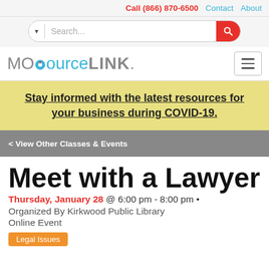Call (866) 870-6500   Contact   About
[Figure (screenshot): Search bar with dropdown and red search button]
[Figure (logo): MOSourceLINK logo with hamburger menu]
Stay informed with the latest resources for your business during COVID-19.
< View Other Classes & Events
Meet with a Lawyer
Thursday, January 28 @ 6:00 pm - 8:00 pm •
Organized By Kirkwood Public Library
Online Event
Legal Issues